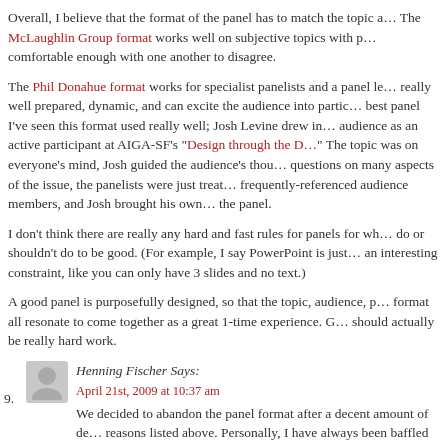Overall, I believe that the format of the panel has to match the topic. The McLaughlin Group format works well on subjective topics with panelists comfortable enough with one another to disagree.
The Phil Donahue format works for specialist panelists and a panel leader really well prepared, dynamic, and can excite the audience into participation. The best panel I've seen this format used really well; Josh Levine drew in the audience as an active participant at AIGA-SF's "Design through the D...". The topic was on everyone's mind, Josh guided the audience's thoughts with questions on many aspects of the issue, the panelists were just treated as frequently-referenced audience members, and Josh brought his own views into the panel.
I don't think there are really any hard and fast rules for panels for what to do or shouldn't do to be good. (For example, I say PowerPoint is just fine with an interesting constraint, like you can only have 3 slides and no text.)
A good panel is purposefully designed, so that the topic, audience, panelists, format all resonate to come together as a great 1-time experience. Good panels should actually be really hard work.
9. Henning Fischer Says:
April 21st, 2009 at 10:37 am
We decided to abandon the panel format after a decent amount of debate for the reasons listed above. Personally, I have always been baffled by the limited education and entertainment afforded by putting 3-4 people to whom we might give an entire speaking slot.